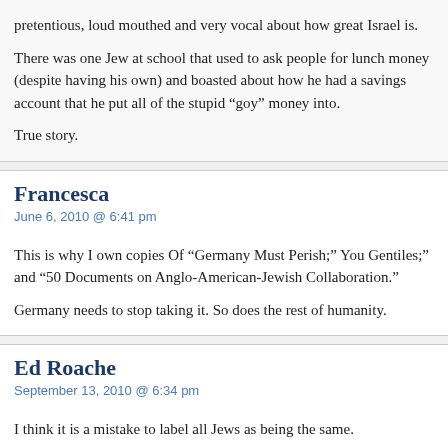pretentious, loud mouthed and very vocal about how great Israel is.
There was one Jew at school that used to ask people for lunch money (despite having his own) and boasted about how he had a savings account that he put all of the stupid “goy” money into.
True story.
Francesca
June 6, 2010 @ 6:41 pm
This is why I own copies Of “Germany Must Perish;” You Gentiles;” and “50 Documents on Anglo-American-Jewish Collaboration.”
Germany needs to stop taking it. So does the rest of humanity.
Ed Roache
September 13, 2010 @ 6:34 pm
I think it is a mistake to label all Jews as being the same.
There are many god-fearing humble Jews that have nothing to do with the Zionist atheist higher echelons of the power elite.
These power elite Jews are really crypto-Jews, Jews in name only. Let’s call them crypto-